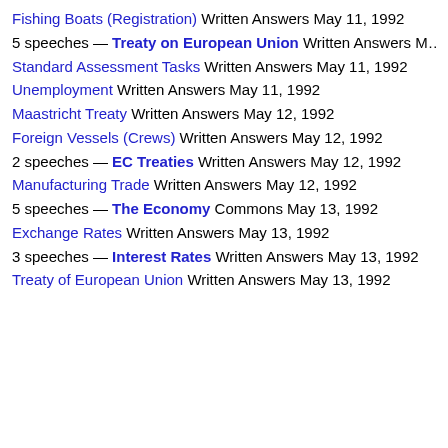Fishing Boats (Registration) Written Answers May 11, 1992
5 speeches — Treaty on European Union Written Answers May 11, 1992
Standard Assessment Tasks Written Answers May 11, 1992
Unemployment Written Answers May 11, 1992
Maastricht Treaty Written Answers May 12, 1992
Foreign Vessels (Crews) Written Answers May 12, 1992
2 speeches — EC Treaties Written Answers May 12, 1992
Manufacturing Trade Written Answers May 12, 1992
5 speeches — The Economy Commons May 13, 1992
Exchange Rates Written Answers May 13, 1992
3 speeches — Interest Rates Written Answers May 13, 1992
Treaty of European Union Written Answers May 13, 1992